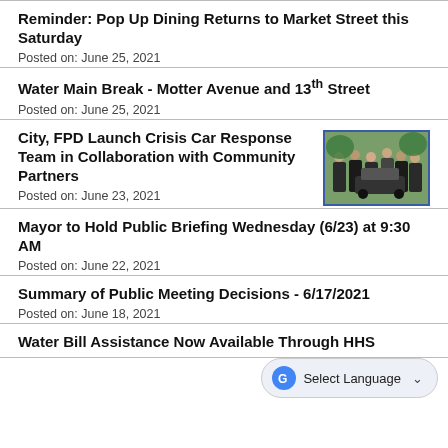Reminder: Pop Up Dining Returns to Market Street this Saturday
Posted on: June 25, 2021
Water Main Break - Motter Avenue and 13 th Street
Posted on: June 25, 2021
City, FPD Launch Crisis Car Response Team in Collaboration with Community Partners
[Figure (photo): Group of people standing outdoors near a vehicle, likely police or city officials]
Posted on: June 23, 2021
Mayor to Hold Public Briefing Wednesday (6/23) at 9:30 AM
Posted on: June 22, 2021
Summary of Public Meeting Decisions - 6/17/2021
Posted on: June 18, 2021
Water Bill Assistance Now Available Through HHS